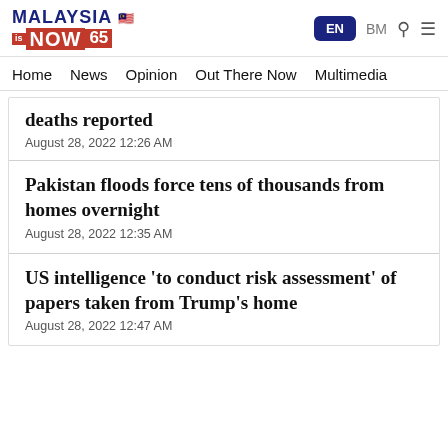MalaysiaNow65 | EN | BM | Search | Menu
Home   News   Opinion   Out There Now   Multimedia
deaths reported
August 28, 2022 12:26 AM
Pakistan floods force tens of thousands from homes overnight
August 28, 2022 12:35 AM
US intelligence 'to conduct risk assessment' of papers taken from Trump's home
August 28, 2022 12:47 AM